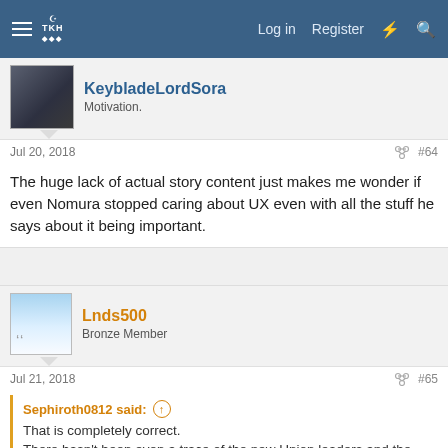Log in  Register
KeybladeLordSora
Motivation.
Jul 20, 2018  #64
The huge lack of actual story content just makes me wonder if even Nomura stopped caring about UX even with all the stuff he says about it being important.
Lnds500
Bronze Member
Jul 21, 2018  #65
Sephiroth0812 said:
That is completely correct.
There hasn't been even a trace of the new Union leaders and the main plot since September 2017.